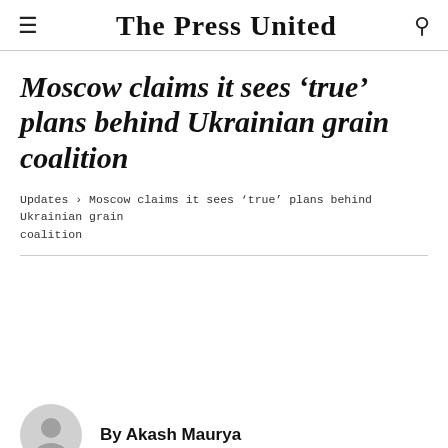The Press United
Moscow claims it sees ‘true’ plans behind Ukrainian grain coalition
Updates › Moscow claims it sees ‘true’ plans behind Ukrainian grain coalition
By Akash Maurya
June 23, 2022